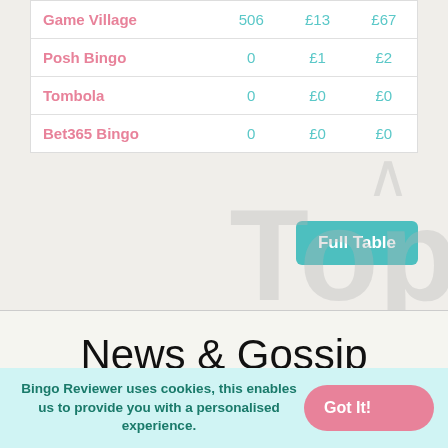| Site | Players | High St | Jackpot |
| --- | --- | --- | --- |
| Game Village | 506 | £13 | £67 |
| Posh Bingo | 0 | £1 | £2 |
| Tombola | 0 | £0 | £0 |
| Bet365 Bingo | 0 | £0 | £0 |
News & Gossip
Bingo Reviewer uses cookies, this enables us to provide you with a personalised experience.